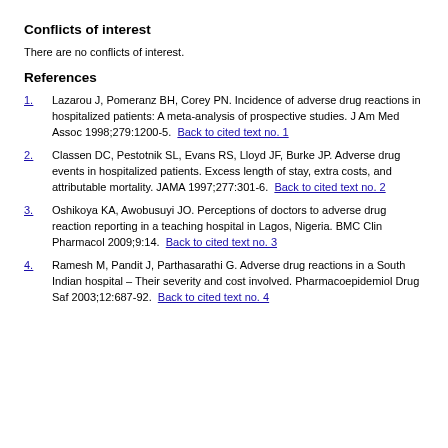Conflicts of interest
There are no conflicts of interest.
References
1. Lazarou J, Pomeranz BH, Corey PN. Incidence of adverse drug reactions in hospitalized patients: A meta-analysis of prospective studies. J Am Med Assoc 1998;279:1200-5. Back to cited text no. 1
2. Classen DC, Pestotnik SL, Evans RS, Lloyd JF, Burke JP. Adverse drug events in hospitalized patients. Excess length of stay, extra costs, and attributable mortality. JAMA 1997;277:301-6. Back to cited text no. 2
3. Oshikoya KA, Awobusuyi JO. Perceptions of doctors to adverse drug reaction reporting in a teaching hospital in Lagos, Nigeria. BMC Clin Pharmacol 2009;9:14. Back to cited text no. 3
4. Ramesh M, Pandit J, Parthasarathi G. Adverse drug reactions in a South Indian hospital – Their severity and cost involved. Pharmacoepidemiol Drug Saf 2003;12:687-92. Back to cited text no. 4